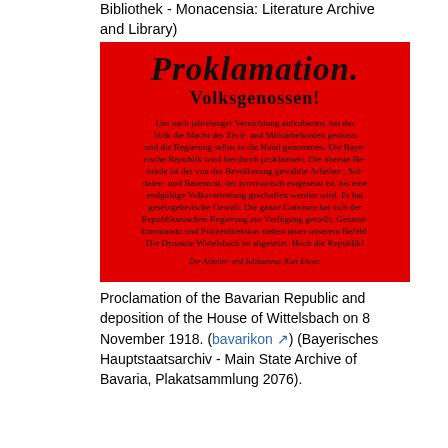Bibliothek - Monacensia: Literature Archive and Library)
[Figure (photo): Red proclamation poster in German blackletter script reading 'Proklamation. Volksgenossen!' announcing the Bavarian Republic on 8 November 1918, signed by Kurt Eisner of the Workers' and Soldiers' Council.]
Proclamation of the Bavarian Republic and deposition of the House of Wittelsbach on 8 November 1918. (bavarikon) (Bayerisches Hauptstaatsarchiv - Main State Archive of Bavaria, Plakatsammlung 2076).